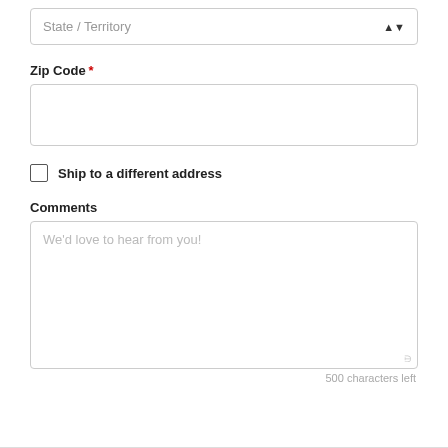State / Territory
Zip Code *
Ship to a different address
Comments
We'd love to hear from you!
500 characters left